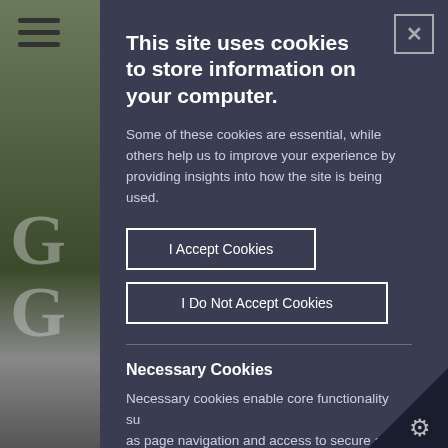[Figure (screenshot): Website cookie consent modal overlay on a website with landscape background. Left side shows a grey/green landscape scene with hamburger menu icon and partial large 'G' letters. Right portion shows a dark navy modal panel.]
This site uses cookies to store information on your computer.
Some of these cookies are essential, while others help us to improve your experience by providing insights into how the site is being used.
I Accept Cookies
I Do Not Accept Cookies
Necessary Cookies
Necessary cookies enable core functionality such as page navigation and access to secure ar